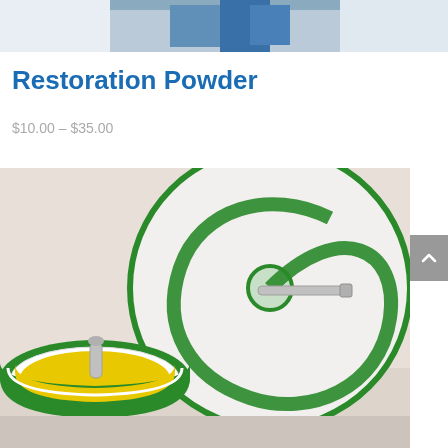[Figure (photo): Top portion of a product photo, cropped, showing what appears to be a blue and white product partially visible at the top of the page.]
Restoration Powder
$10.00 – $35.00
[Figure (photo): Photo of a polishing pad kit showing a green foam pad with yellow backing on a spindle/arbor, alongside a large circular green-bordered sanding/buffing disc. The background is light beige/cream.]